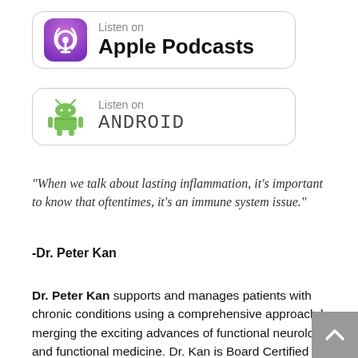[Figure (logo): Listen on Apple Podcasts badge with purple podcast icon and text 'Listen on Apple Podcasts']
[Figure (logo): Listen on Android badge with green Android robot icon and text 'Listen on Android']
“When we talk about lasting inflammation, it’s important to know that oftentimes, it’s an immune system issue.”
-Dr. Peter Kan
Dr. Peter Kan supports and manages patients with chronic conditions using a comprehensive approach by merging the exciting advances of functional neurology and functional medicine. Dr. Kan is Board Certified in Integrative